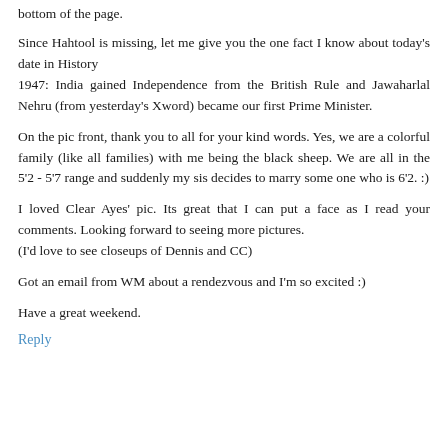bottom of the page.
Since Hahtool is missing, let me give you the one fact I know about today's date in History
1947: India gained Independence from the British Rule and Jawaharlal Nehru (from yesterday's Xword) became our first Prime Minister.
On the pic front, thank you to all for your kind words. Yes, we are a colorful family (like all families) with me being the black sheep. We are all in the 5'2 - 5'7 range and suddenly my sis decides to marry some one who is 6'2. :)
I loved Clear Ayes' pic. Its great that I can put a face as I read your comments. Looking forward to seeing more pictures.
(I'd love to see closeups of Dennis and CC)
Got an email from WM about a rendezvous and I'm so excited :)
Have a great weekend.
Reply